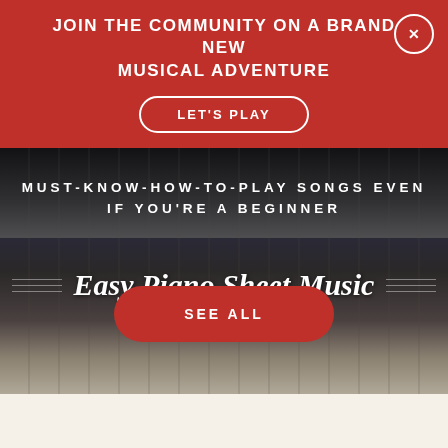JOIN THE COMMUNITY ON A BRAND NEW MUSICAL ADVENTURE
LET'S PLAY
[Figure (photo): Dark background showing piano keys, blurred/artistic close-up view of black and white piano keys from above]
MUST-KNOW-HOW-TO-PLAY SONGS EVEN IF YOU'RE A BEGINNER
Easy Piano Sheet Music
SEE ALL